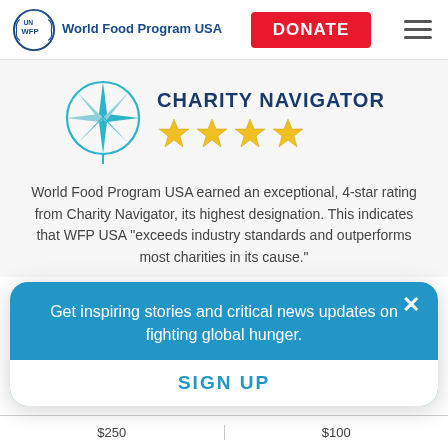UN WFP World Food Program USA | DONATE
[Figure (logo): Charity Navigator compass logo with 4 gold stars]
World Food Program USA earned an exceptional, 4-star rating from Charity Navigator, its highest designation. This indicates that WFP USA "exceeds industry standards and outperforms most charities in its cause."
Get inspiring stories and critical news updates on fighting global hunger.
SIGN UP